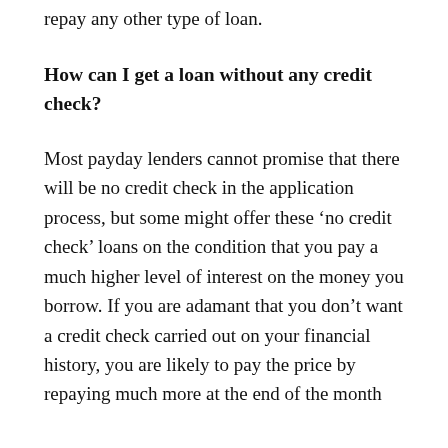repay any other type of loan.
How can I get a loan without any credit check?
Most payday lenders cannot promise that there will be no credit check in the application process, but some might offer these ‘no credit check’ loans on the condition that you pay a much higher level of interest on the money you borrow. If you are adamant that you don’t want a credit check carried out on your financial history, you are likely to pay the price by repaying much more at the end of the month